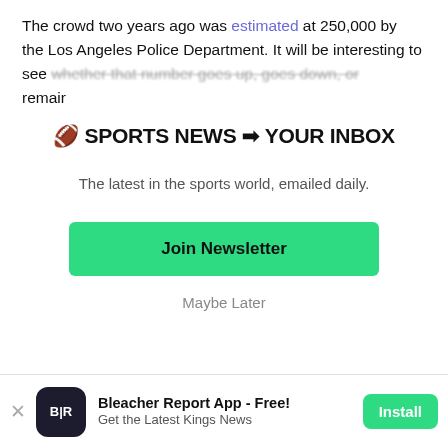The crowd two years ago was estimated at 250,000 by the Los Angeles Police Department. It will be interesting to see whether that number goes up, goes down, or remains...
[Figure (infographic): Newsletter signup modal overlay with title 'SPORTS NEWS YOUR INBOX', subtitle 'The latest in the sports world, emailed daily.', a green 'Join Newsletter' button, and a 'Maybe Later' link.]
[Figure (infographic): Bottom app banner for Bleacher Report App - Free! with B/R logo, tagline 'Get the Latest Kings News', and a green Install button.]